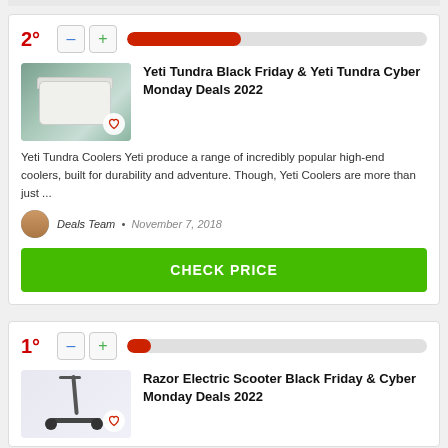2°
[Figure (infographic): Progress bar showing red fill at ~38% width]
[Figure (photo): Yeti cooler photo with heart icon overlay]
Yeti Tundra Black Friday & Yeti Tundra Cyber Monday Deals 2022
Yeti Tundra Coolers Yeti produce a range of incredibly popular high-end coolers, built for durability and adventure. Though, Yeti Coolers are more than just ...
Deals Team • November 7, 2018
CHECK PRICE
1°
[Figure (infographic): Progress bar showing red fill at ~8% width]
[Figure (photo): Razor electric scooter photo with heart icon overlay]
Razor Electric Scooter Black Friday & Cyber Monday Deals 2022